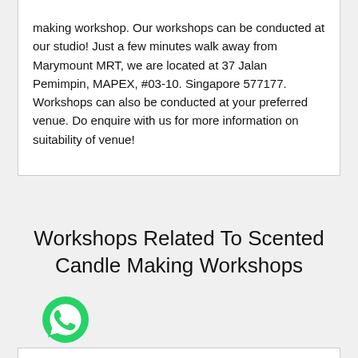making workshop. Our workshops can be conducted at our studio! Just a few minutes walk away from Marymount MRT, we are located at 37 Jalan Pemimpin, MAPEX, #03-10. Singapore 577177. Workshops can also be conducted at your preferred venue. Do enquire with us for more information on suitability of venue!
Workshops Related To Scented Candle Making Workshops
[Figure (logo): WhatsApp green phone icon]